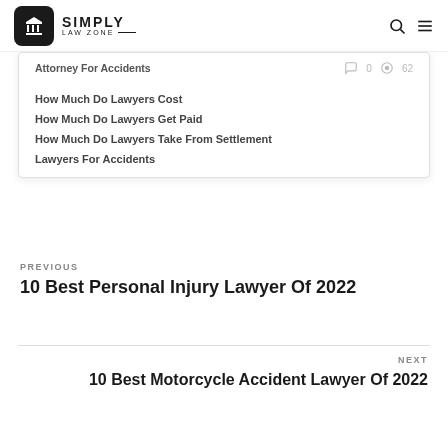SIMPLY LAW ZONE
Attorney For Accidents
How Much Do Lawyers Cost
How Much Do Lawyers Get Paid
How Much Do Lawyers Take From Settlement
Lawyers For Accidents
PREVIOUS
10 Best Personal Injury Lawyer Of 2022
NEXT
10 Best Motorcycle Accident Lawyer Of 2022